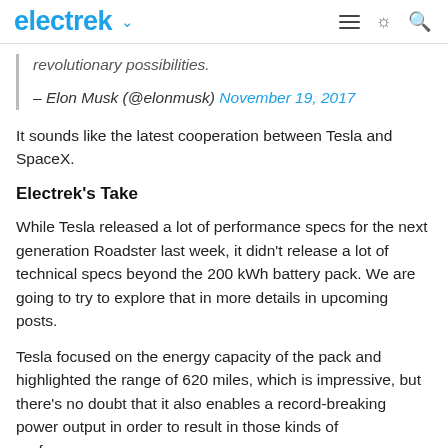electrek
revolutionary possibilities.
– Elon Musk (@elonmusk) November 19, 2017
It sounds like the latest cooperation between Tesla and SpaceX.
Electrek's Take
While Tesla released a lot of performance specs for the next generation Roadster last week, it didn't release a lot of technical specs beyond the 200 kWh battery pack. We are going to try to explore that in more details in upcoming posts.
Tesla focused on the energy capacity of the pack and highlighted the range of 620 miles, which is impressive, but there's no doubt that it also enables a record-breaking power output in order to result in those kinds of performance.